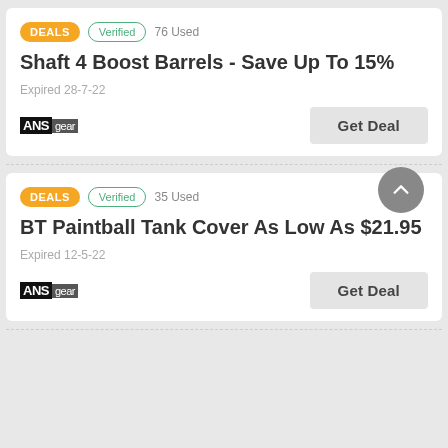DEALS  Verified  76 Used
Shaft 4 Boost Barrels - Save Up To 15%
Expired 28-7-22
ANSgear
Get Deal
DEALS  Verified  35 Used
BT Paintball Tank Cover As Low As $21.95
Expired 12-5-22
ANSgear
Get Deal